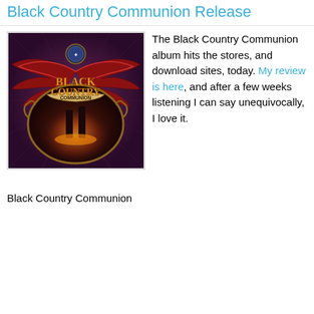Black Country Communion Release
[Figure (photo): Black Country Communion album cover art featuring a winged logo with eagles, the band name 'Black Country Communion' in ornate lettering, and an industrial/apocalyptic landscape in the background with orange and purple tones.]
The Black Country Communion album hits the stores, and download sites, today. My review is here, and after a few weeks listening I can say unequivocally, I love it.
Black Country Communion